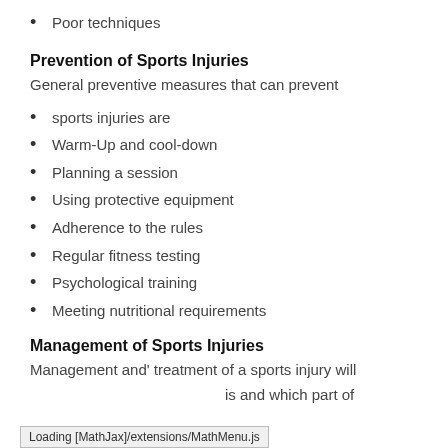Poor techniques
Prevention of Sports Injuries
General preventive measures that can prevent
sports injuries are
Warm-Up and cool-down
Planning a session
Using protective equipment
Adherence to the rules
Regular fitness testing
Psychological training
Meeting nutritional requirements
Management of Sports Injuries
Management and' treatment of a sports injury will
is and which part of
Loading [MathJax]/extensions/MathMenu.js